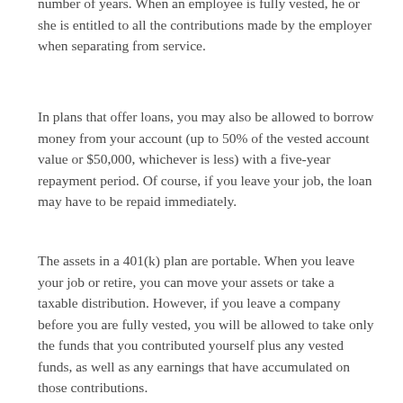number of years. When an employee is fully vested, he or she is entitled to all the contributions made by the employer when separating from service.
In plans that offer loans, you may also be allowed to borrow money from your account (up to 50% of the vested account value or $50,000, whichever is less) with a five-year repayment period. Of course, if you leave your job, the loan may have to be repaid immediately.
The assets in a 401(k) plan are portable. When you leave your job or retire, you can move your assets or take a taxable distribution. However, if you leave a company before you are fully vested, you will be allowed to take only the funds that you contributed yourself plus any vested funds, as well as any earnings that have accumulated on those contributions.
Within certain limits, the funds in your 401(k) plan can be rolled over directly to your new employer's